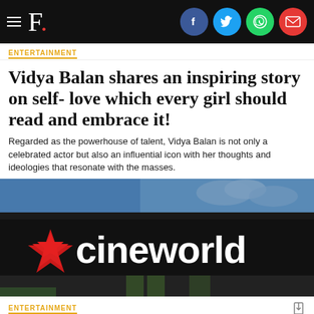F. [social icons: Facebook, Twitter, WhatsApp, Email]
ENTERTAINMENT
Vidya Balan shares an inspiring story on self- love which every girl should read and embrace it!
Regarded as the powerhouse of talent, Vidya Balan is not only a celebrated actor but also an influential icon with her thoughts and ideologies that resonate with the masses.
[Figure (photo): Cineworld cinema exterior showing the Cineworld logo with a red star on a dark building facade]
ENTERTAINMENT
Cineworld theater chain confirms it's